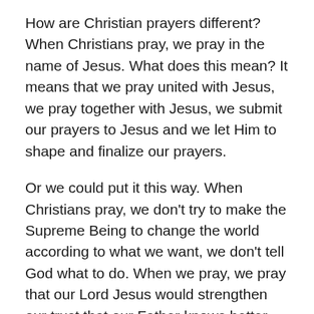How are Christian prayers different? When Christians pray, we pray in the name of Jesus. What does this mean? It means that we pray united with Jesus, we pray together with Jesus, we submit our prayers to Jesus and we let Him to shape and finalize our prayers.
Or we could put it this way. When Christians pray, we don't try to make the Supreme Being to change the world according to what we want, we don't tell God what to do. When we pray, we pray that our Lord Jesus would strengthen our trust that our Father knows better, and we pray that our prayers are in in full accord with God's will.
So that what we pray would be in full harmony with what Jesus Himself would pray in our situations. Now, remember, He has already given us His own prayer. Let's take a look at what He actually does pray in this prayer.